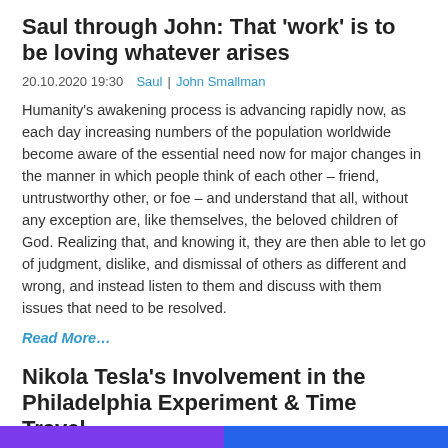Saul through John: That ‘work’ is to be loving whatever arises
20.10.2020 19:30  Saul  |  John Smallman
Humanity’s awakening process is advancing rapidly now, as each day increasing numbers of the population worldwide become aware of the essential need now for major changes in the manner in which people think of each other – friend, untrustworthy other, or foe – and understand that all, without any exception are, like themselves, the beloved children of God. Realizing that, and knowing it, they are then able to let go of judgment, dislike, and dismissal of others as different and wrong, and instead listen to them and discuss with them issues that need to be resolved.
Read More…
Nikola Tesla's Involvement in the Philadelphia Experiment & Time Travel
20.10.2020 19:27  Nikola Tesla  |  Science and Technology
[Figure (other): Colorful banner image at bottom of page, showing purple and blue color bars]